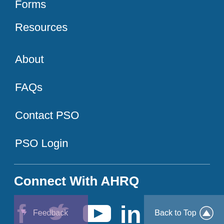Forms
Resources
About
FAQs
Contact PSO
PSO Login
Connect With AHRQ
[Figure (other): Social media icons and feedback overlay: Facebook, Twitter, YouTube, LinkedIn icons. Feedback tab overlay on left. Back to Top button on right.]